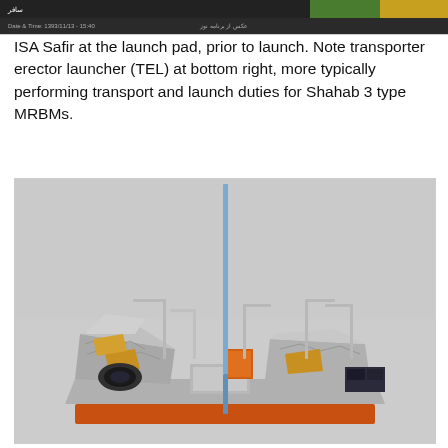[Figure (photo): Screenshot of ISA Safir rocket at the launch pad from a website, showing date/time watermark and a banner with Arabic/Persian text at top and bottom.]
ISA Safir at the launch pad, prior to launch. Note transporter erector launcher (TEL) at bottom right, more typically performing transport and launch duties for Shahab 3 type MRBMs.
[Figure (photo): Photograph of a satellite model or mockup on a table, showing silver thermal insulation blankets, metal antenna rods, and a vertical blue rod, against a light grey background.]